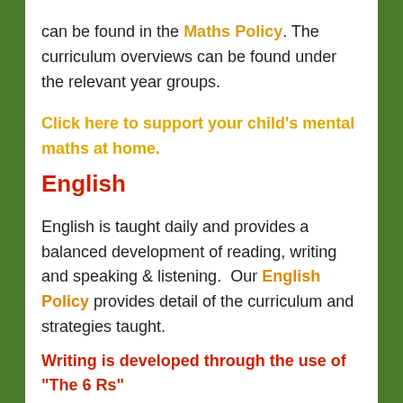can be found in the Maths Policy. The curriculum overviews can be found under the relevant year groups.
Click here to support your child's mental maths at home.
English
English is taught daily and provides a balanced development of reading, writing and speaking & listening.  Our English Policy provides detail of the curriculum and strategies taught.
Writing is developed through the use of "The 6 Rs"
1. Read It (read and understand a text),